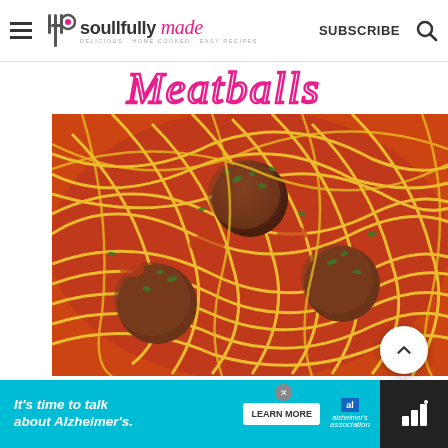soullfully made — SUBSCRIBE
Meatballs
[Figure (photo): Close-up photo of spaghetti and meatballs in tomato sauce garnished with fresh parsley, served in a white bowl. Social media action buttons (heart, share, search, count) overlaid on the image.]
[Figure (infographic): Advertisement banner: It's time to talk about Alzheimer's. with LEARN MORE button and Alzheimer's Association logo]